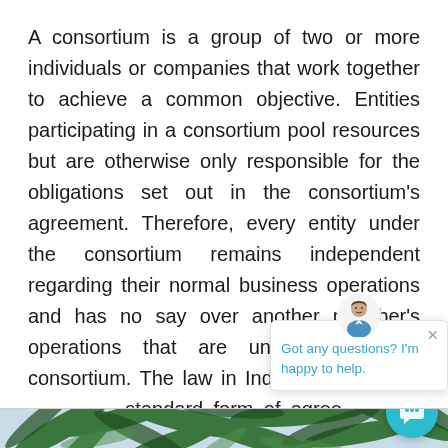A consortium is a group of two or more individuals or companies that work together to achieve a common objective. Entities participating in a consortium pool resources but are otherwise only responsible for the obligations set out in the consortium's agreement. Therefore, every entity under the consortium remains independent regarding their normal business operations and has no say over another member's operations that are unrelated to the consortium. The law in Indonesia does not provide a standard form of agreement for this type of organization.
[Figure (photo): Palm tree leaves against a light sky, photographed from below looking up. Green tropical foliage.]